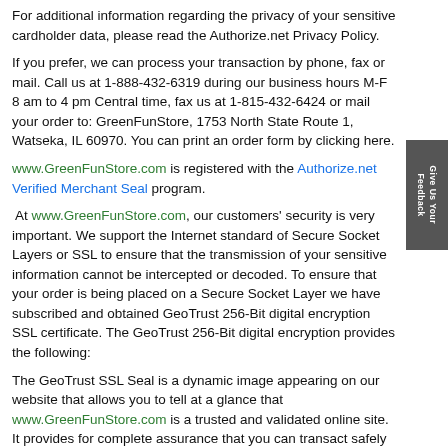For additional information regarding the privacy of your sensitive cardholder data, please read the Authorize.net Privacy Policy.
If you prefer, we can process your transaction by phone, fax or mail. Call us at 1-888-432-6319 during our business hours M-F 8 am to 4 pm Central time, fax us at 1-815-432-6424 or mail your order to: GreenFunStore, 1753 North State Route 1, Watseka, IL 60970. You can print an order form by clicking here.
www.GreenFunStore.com is registered with the Authorize.net Verified Merchant Seal program.
At www.GreenFunStore.com, our customers' security is very important. We support the Internet standard of Secure Socket Layers or SSL to ensure that the transmission of your sensitive information cannot be intercepted or decoded. To ensure that your order is being placed on a Secure Socket Layer we have subscribed and obtained GeoTrust 256-Bit digital encryption SSL certificate. The GeoTrust 256-Bit digital encryption provides the following:
The GeoTrust SSL Seal is a dynamic image appearing on our website that allows you to tell at a glance that www.GreenFunStore.com is a trusted and validated online site. It provides for complete assurance that you can transact safely and securely.